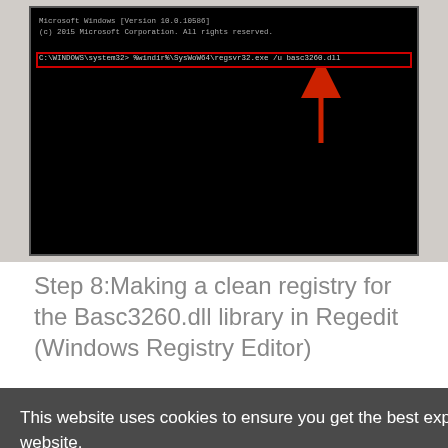[Figure (screenshot): Windows Command Prompt screenshot showing command: %windir%\SysWoW64\regsvr32.exe /u basc3260.dll with a red rectangle highlight around the command and a red arrow pointing to it. Text shows Microsoft Windows Version 10.0.10586 and (c) 2015 Microsoft Corporation. All rights reserved.]
Step 8:Making a clean registry for the Basc3260.dll library in Regedit (Windows Registry Editor)
nd
nd
This website uses cookies to ensure you get the best experience on our website.
Learn More
Got it!